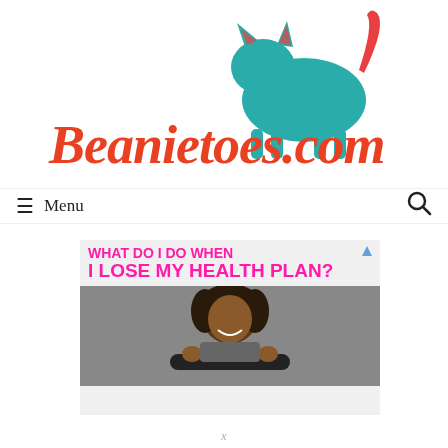[Figure (logo): Beanietoes.com logo with teal cat silhouette and orange/red script text]
≡ Menu
[Figure (photo): Advertisement banner: 'WHAT DO I DO WHEN I LOSE MY HEALTH PLAN?' in hot pink bold text on light grey background, with a photo of a smiling woman holding a skateboard below]